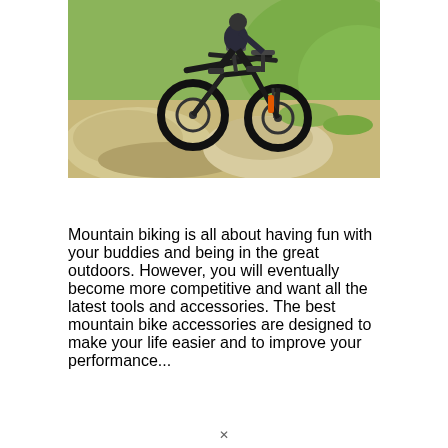[Figure (photo): A mountain biker riding a black full-suspension mountain bike over large rocks on a trail, with green grassy hills in the background. The rider is airborne slightly over the rocky terrain.]
Mountain biking is all about having fun with your buddies and being in the great outdoors. However, you will eventually become more competitive and want all the latest tools and accessories. The best mountain bike accessories are designed to make your life easier and to improve your performance...